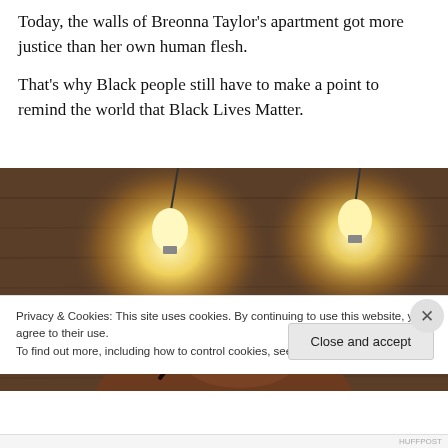Today, the walls of Breonna Taylor's apartment got more justice than her own human flesh.
That's why Black people still have to make a point to remind the world that Black Lives Matter.
[Figure (photo): Close-up photo of the top of a person's head with braids/cornrows, with two glowing incandescent light bulbs hanging in the background against a wooden wall.]
Privacy & Cookies: This site uses cookies. By continuing to use this website, you agree to their use.
To find out more, including how to control cookies, see here: Cookie Policy
HUFFPOST